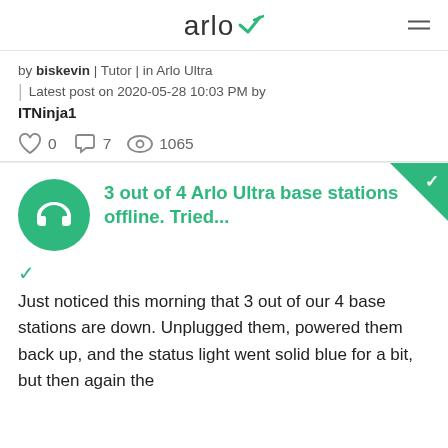arlo
by biskevin | Tutor | in Arlo Ultra  |  Latest post on 2020-05-28 10:03 PM by ITNinja1
0  7  1065
3 out of 4 Arlo Ultra base stations offline. Tried...
Just noticed this morning that 3 out of our 4 base stations are down. Unplugged them, powered them back up, and the status light went solid blue for a bit, but then again the